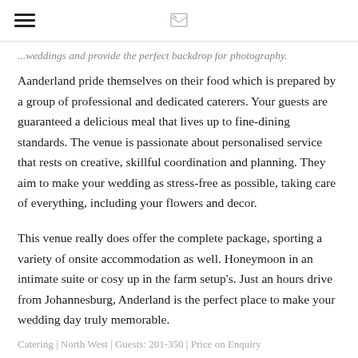...weddings and provide the perfect backdrop for photography.
Aanderland pride themselves on their food which is prepared by a group of professional and dedicated caterers. Your guests are guaranteed a delicious meal that lives up to fine-dining standards. The venue is passionate about personalised service that rests on creative, skillful coordination and planning. They aim to make your wedding as stress-free as possible, taking care of everything, including your flowers and decor.
This venue really does offer the complete package, sporting a variety of onsite accommodation as well. Honeymoon in an intimate suite or cosy up in the farm setup's.  Just an hours drive from Johannesburg, Anderland is the perfect place to make your wedding day truly memorable.
Catering | North West | Guests: 201-350 | Price on Enquiry